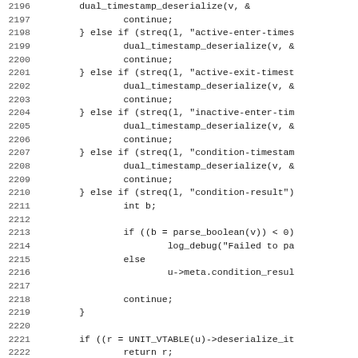[Figure (screenshot): Source code listing showing C code lines 2196-2227, with line numbers on the left and code content on the right. The code shows deserialization logic with if-else chains calling dual_timestamp_deserialize and parse_boolean functions, followed by a unit_add_node_link function definition.]